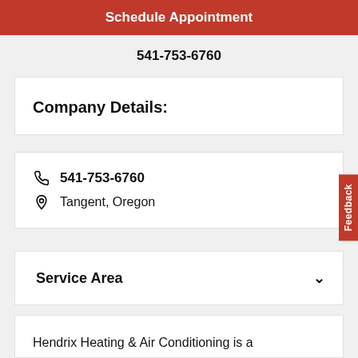Schedule Appointment
541-753-6760
Company Details:
541-753-6760
Tangent, Oregon
Service Area
Hendrix Heating & Air Conditioning is a